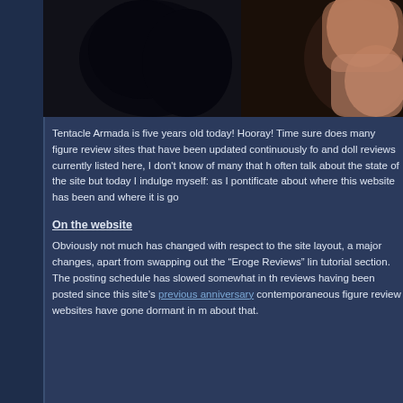[Figure (photo): Close-up photo of anime figure details, dark background with figure parts visible]
Tentacle Armada is five years old today! Hooray! Time sure does many figure review sites that have been updated continuously for and doll reviews currently listed here, I don't know of many that h often talk about the state of the site but today I indulge myself: as I pontificate about where this website has been and where it is go
On the website
Obviously not much has changed with respect to the site layout, a major changes, apart from swapping out the "Eroge Reviews" lin tutorial section. The posting schedule has slowed somewhat in th reviews having been posted since this site's previous anniversary contemporaneous figure review websites have gone dormant in m about that.